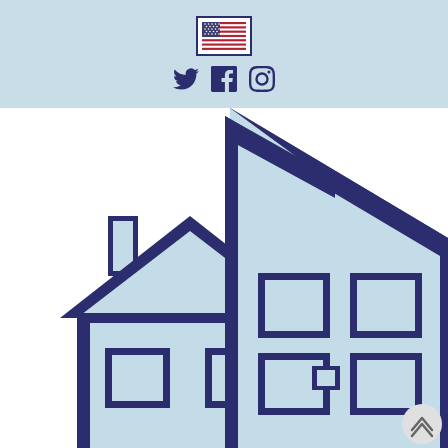[Figure (logo): US flag icon in a rectangular border, centered in the light blue header band]
[Figure (infographic): Social media icons: Twitter bird, Facebook f, and Instagram camera, arranged horizontally in dark navy blue]
[Figure (illustration): Illustration of two houses in dark navy blue and light blue colors. Larger house on the right with a peaked roof, windows, and small window details; smaller house on the left with chimney and windows. Style is flat icon/infographic.]